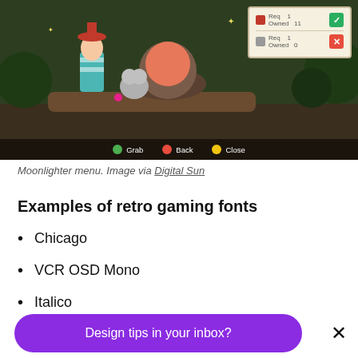[Figure (screenshot): Moonlighter video game screenshot showing a cauldron scene with characters and a UI panel in the top right with Req/Owned fields and green checkmark/red X buttons. Bottom bar shows Grab, Back, Close buttons with colored dots.]
Moonlighter menu. Image via Digital Sun
Examples of retro gaming fonts
Chicago
VCR OSD Mono
Italico
FF Blur
Design tips in your inbox?